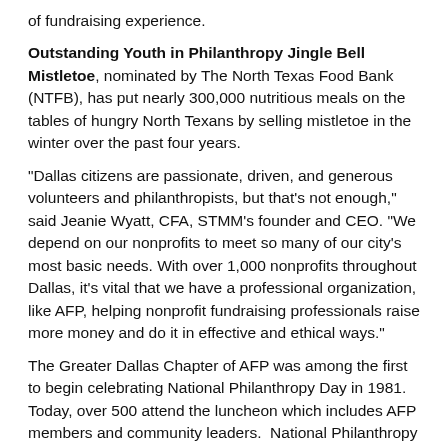of fundraising experience.
Outstanding Youth in Philanthropy Jingle Bell Mistletoe, nominated by The North Texas Food Bank (NTFB), has put nearly 300,000 nutritious meals on the tables of hungry North Texans by selling mistletoe in the winter over the past four years.
“Dallas citizens are passionate, driven, and generous volunteers and philanthropists, but that’s not enough,” said Jeanie Wyatt, CFA, STMM’s founder and CEO. “We depend on our nonprofits to meet so many of our city’s most basic needs. With over 1,000 nonprofits throughout Dallas, it’s vital that we have a professional organization, like AFP, helping nonprofit fundraising professionals raise more money and do it in effective and ethical ways.”
The Greater Dallas Chapter of AFP was among the first to begin celebrating National Philanthropy Day in 1981.  Today, over 500 attend the luncheon which includes AFP members and community leaders.  National Philanthropy Day celebrates the great contributions philanthropy, and those who work in the philanthropic process, make to our community. AFP Chapters involve more than 28,000 individuals in celebrating philanthropy each year.
“STMM is pleased to sponsor the Greater Dallas AFP for the